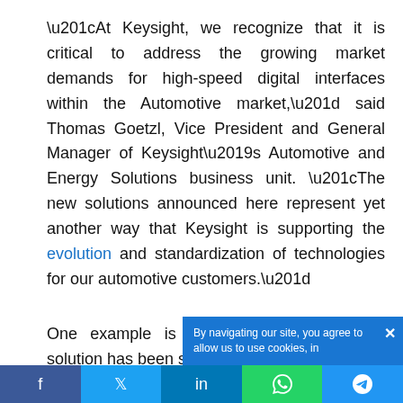“At Keysight, we recognize that it is critical to address the growing market demands for high-speed digital interfaces within the Automotive market,” said Thomas Goetzl, Vice President and General Manager of Keysight’s Automotive and Energy Solutions business unit. “The new solutions announced here represent yet another way that Keysight is supporting the evolution and standardization of technologies for our automotive customers.”
One example is that, before release, the solution has been successfully ve...
By navigating our site, you agree to allow us to use cookies, in
f  t  in  [whatsapp icon]  [telegram icon]